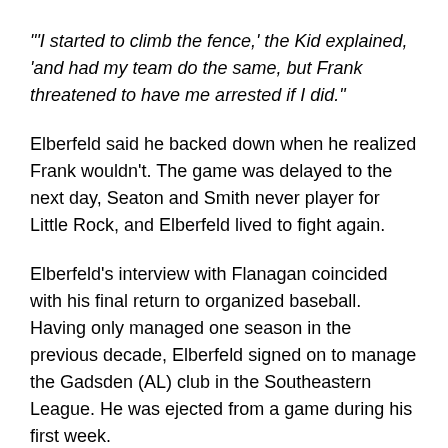"'I started to climb the fence,' the Kid explained, 'and had my team do the same, but Frank threatened to have me arrested if I did."
Elberfeld said he backed down when he realized Frank wouldn't. The game was delayed to the next day, Seaton and Smith never player for Little Rock, and Elberfeld lived to fight again.
Elberfeld's interview with Flanagan coincided with his final return to organized baseball. Having only managed one season in the previous decade, Elberfeld signed on to manage the Gadsden (AL) club in the Southeastern League. He was ejected from a game during his first week.
Elberfeld retired again after the 1936 season; he died in